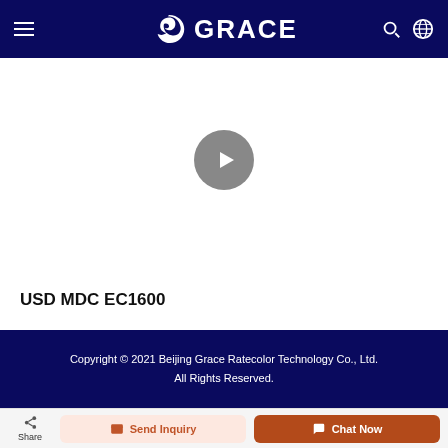GRACE
[Figure (screenshot): Video player area with a gray circular play button in the center on a white background]
USD MDC EC1600
Copyright © 2021 Beijing Grace Ratecolor Technology Co., Ltd. All Rights Reserved.
Share  Send Inquiry  Chat Now